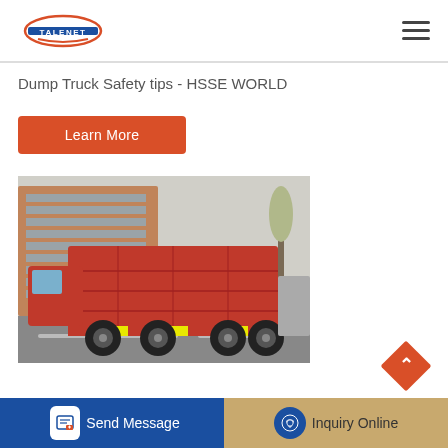TALENET
Dump Truck Safety tips - HSSE WORLD
Learn More
[Figure (photo): Red dump truck parked on a street with a building and trees in the background]
Send Message
Inquiry Online